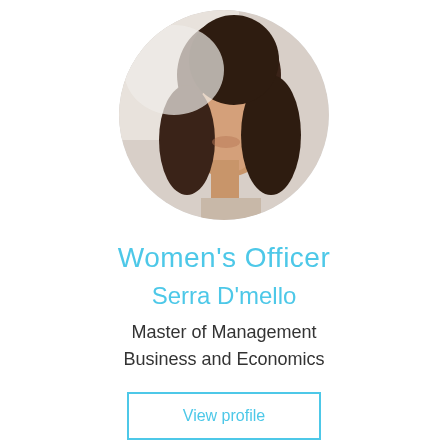[Figure (photo): Circular profile photo of a young woman with long dark hair, smiling slightly, against a light background.]
Women's Officer
Serra D'mello
Master of Management
Business and Economics
View profile